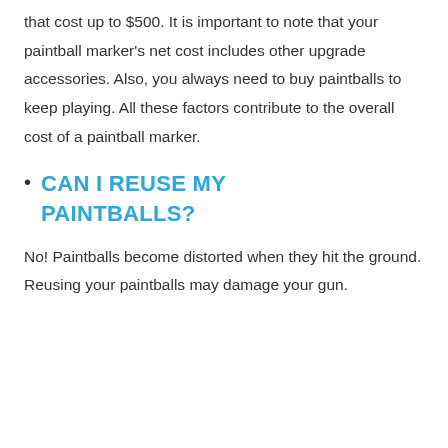that cost up to $500. It is important to note that your paintball marker's net cost includes other upgrade accessories. Also, you always need to buy paintballs to keep playing. All these factors contribute to the overall cost of a paintball marker.
CAN I REUSE MY PAINTBALLS?
No! Paintballs become distorted when they hit the ground. Reusing your paintballs may damage your gun.